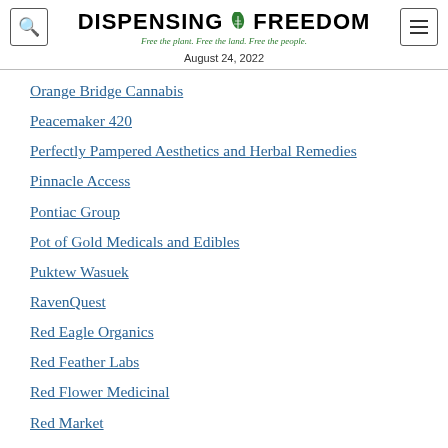DISPENSING ✿ FREEDOM — Free the plant. Free the land. Free the people.
August 24, 2022
Orange Bridge Cannabis
Peacemaker 420
Perfectly Pampered Aesthetics and Herbal Remedies
Pinnacle Access
Pontiac Group
Pot of Gold Medicals and Edibles
Puktew Wasuek
RavenQuest
Red Eagle Organics
Red Feather Labs
Red Flower Medicinal
Red Market